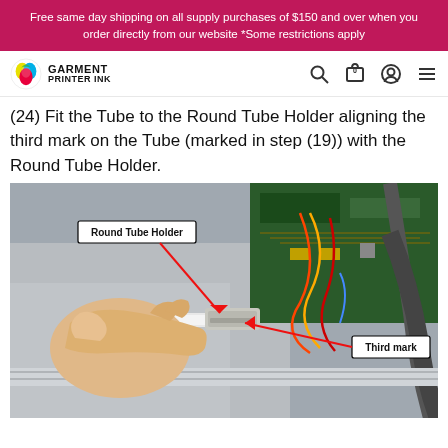Free same day shipping on all supply purchases of $150 and over when you order directly from our website *Some restrictions apply
[Figure (logo): Garment Printer Ink logo with colorful ink drop icon]
(24) Fit the Tube to the Round Tube Holder aligning the third mark on the Tube (marked in step (19)) with the Round Tube Holder.
[Figure (photo): Photo of a hand inserting a tube into a Round Tube Holder on a printer, with labeled callouts: 'Round Tube Holder' (top left, red arrow pointing to the connector) and 'Third mark' (bottom right, red arrow pointing to a mark on the tube).]